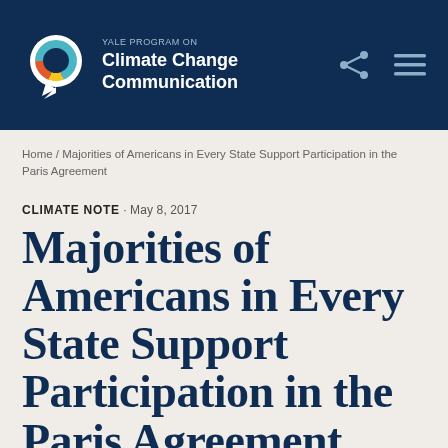Yale Program on Climate Change Communication
Home / Majorities of Americans in Every State Support Participation in the Paris Agreement
CLIMATE NOTE · May 8, 2017
Majorities of Americans in Every State Support Participation in the Paris Agreement